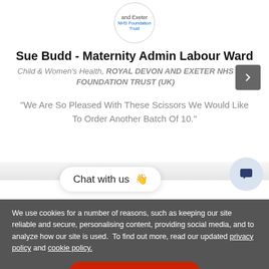[Figure (logo): Royal Devon and Exeter NHS Foundation Trust circular logo]
Sue Budd - Maternity Admin Labour Ward
Child & Women's Health, ROYAL DEVON AND EXETER NHS FOUNDATION TRUST (UK)
“We Are So Pleased With These Scissors We Would Like To Order Another Batch Of 10.”
[Figure (screenshot): Chat with us widget with waving hand emoji and chat icon button]
We use cookies for a number of reasons, such as keeping our site reliable and secure, personalising content, providing social media, and to analyze how our site is used. To find out more, read our updated privacy policy and cookie policy.
Accept & Continue